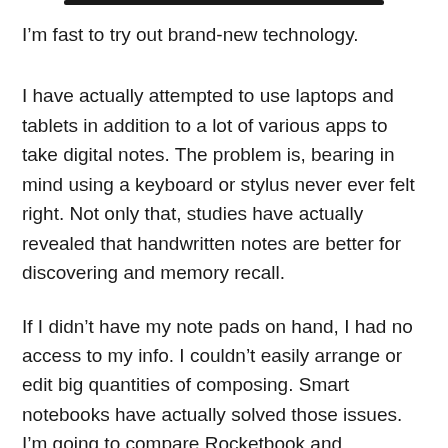I’m fast to try out brand-new technology.
I have actually attempted to use laptops and tablets in addition to a lot of various apps to take digital notes. The problem is, bearing in mind using a keyboard or stylus never ever felt right. Not only that, studies have actually revealed that handwritten notes are better for discovering and memory recall.
If I didn’t have my note pads on hand, I had no access to my info. I couldn’t easily arrange or edit big quantities of composing. Smart notebooks have actually solved those issues. I’m going to compare Rocketbook and